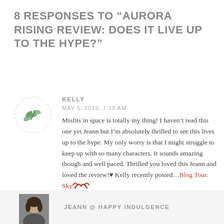8 RESPONSES TO “AURORA RISING REVIEW: DOES IT LIVE UP TO THE HYPE?”
KELLY
MAY 5, 2019, 7:19 AM
Misfits in space is totally my thing! I haven’t read this one yet Jeann but I’m absolutely thrilled to see this lives up to the hype. My only worry is that I might struggle to keep up with so many characters. It sounds amazing though and well paced. Thrilled you loved this Jeann and loved the review!♥ Kelly recently posted…Blog Tour: Sky
JEANN @ HAPPY INDULGENCE